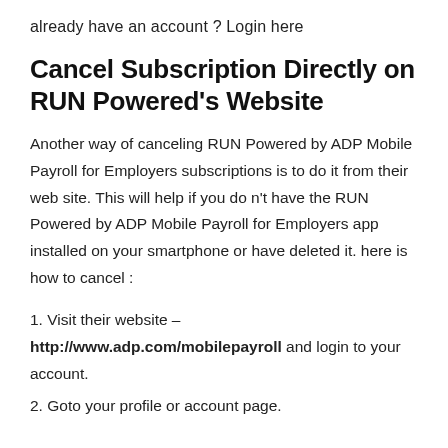already have an account ? Login here
Cancel Subscription Directly on RUN Powered's Website
Another way of canceling RUN Powered by ADP Mobile Payroll for Employers subscriptions is to do it from their web site. This will help if you do n't have the RUN Powered by ADP Mobile Payroll for Employers app installed on your smartphone or have deleted it. here is how to cancel :
1. Visit their website – http://www.adp.com/mobilepayroll and login to your account.
2. Goto your profile or account page.